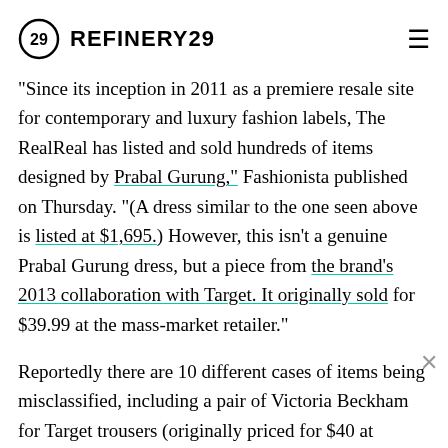REFINERY29
"Since its inception in 2011 as a premiere resale site for contemporary and luxury fashion labels, The RealReal has listed and sold hundreds of items designed by Prabal Gurung," Fashionista published on Thursday. "(A dress similar to the one seen above is listed at $1,695.) However, this isn't a genuine Prabal Gurung dress, but a piece from the brand's 2013 collaboration with Target. It originally sold for $39.99 at the mass-market retailer."
Reportedly there are 10 different cases of items being misclassified, including a pair of Victoria Beckham for Target trousers (originally priced for $40 at Target, but selling for $275 on The RealReal); an Altuzarra for Target sweater (listed for $49.99 at Target but selling for $175) on The RealReal; and a Peter Pilotto for Target printed...